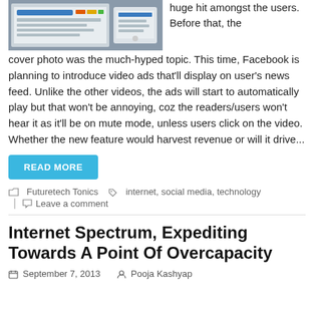[Figure (photo): Screenshot of a social media or tech website displayed on a device/tablet]
huge hit amongst the users. Before that, the cover photo was the much-hyped topic. This time, Facebook is planning to introduce video ads that'll display on user's news feed. Unlike the other videos, the ads will start to automatically play but that won't be annoying, coz the readers/users won't hear it as it'll be on mute mode, unless users click on the video. Whether the new feature would harvest revenue or will it drive...
READ MORE
Futuretech Tonics   internet, social media, technology
Leave a comment
Internet Spectrum, Expediting Towards A Point Of Overcapacity
September 7, 2013   Pooja Kashyap